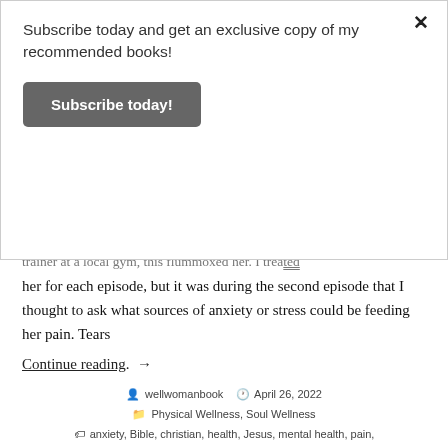Subscribe today and get an exclusive copy of my recommended books!
Subscribe today!
trainer at a local gym, this flummoxed her. I treated her for each episode, but it was during the second episode that I thought to ask what sources of anxiety or stress could be feeding her pain. Tears
Continue reading. →
wellwomanbook   April 26, 2022   Physical Wellness, Soul Wellness  anxiety, Bible, christian, health, Jesus, mental health, pain, physical therapy, Spirituality, stress, wellness  1 Comment